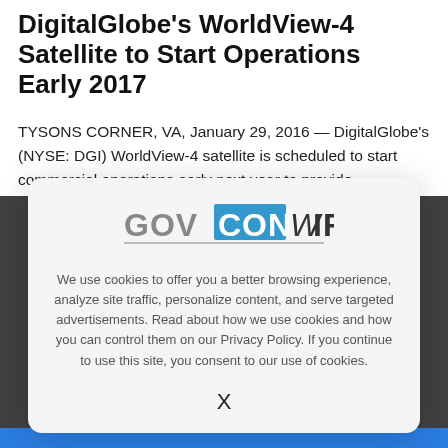DigitalGlobe's WorldView-4 Satellite to Start Operations Early 2017
TYSONS CORNER, VA, January 29, 2016 — DigitalGlobe's (NYSE: DGI) WorldView-4 satellite is scheduled to start commercial operations early next year to provide
[Figure (logo): GovConWire logo with 'GOV' in gray, 'CON' in blue/teal, 'WIRE' in dark, with a horizontal line underneath]
We use cookies to offer you a better browsing experience, analyze site traffic, personalize content, and serve targeted advertisements. Read about how we use cookies and how you can control them on our Privacy Policy. If you continue to use this site, you consent to our use of cookies.
X